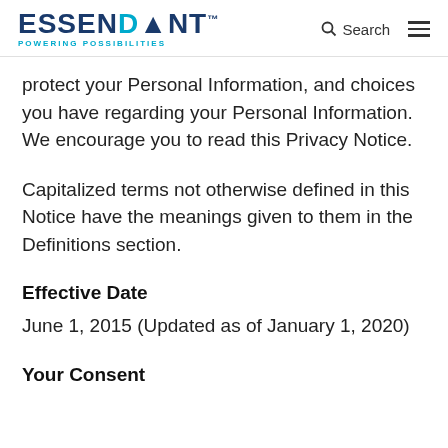ESSENDANT POWERING POSSIBILITIES | Search | Menu
protect your Personal Information, and choices you have regarding your Personal Information. We encourage you to read this Privacy Notice.
Capitalized terms not otherwise defined in this Notice have the meanings given to them in the Definitions section.
Effective Date
June 1, 2015 (Updated as of January 1, 2020)
Your Consent